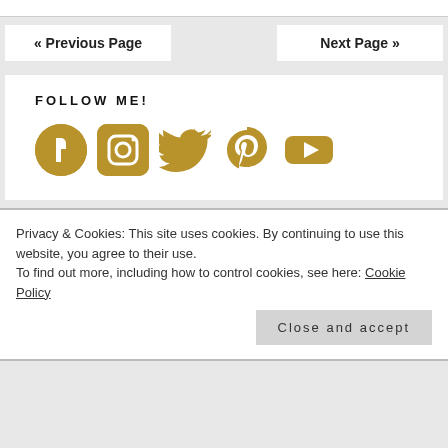« Previous Page
Next Page »
FOLLOW ME!
[Figure (illustration): Five social media icons in gold/tan color: Facebook, Instagram, Twitter, Pinterest, YouTube]
Privacy & Cookies: This site uses cookies. By continuing to use this website, you agree to their use.
To find out more, including how to control cookies, see here: Cookie Policy
Close and accept